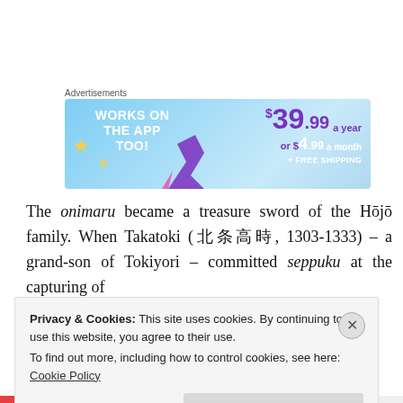Advertisements
[Figure (illustration): Advertisement banner: 'WORKS ON THE APP TOO!' with pricing $39.99 a year or $4.99 a month + FREE SHIPPING on a blue background with star and purple shape graphics.]
The onimaru became a treasure sword of the Hōjō family. When Takatoki (北条高時, 1303-1333) – a grand-son of Tokiyori – committed seppuku at the capturing of
Privacy & Cookies: This site uses cookies. By continuing to use this website, you agree to their use.
To find out more, including how to control cookies, see here: Cookie Policy
Close and accept